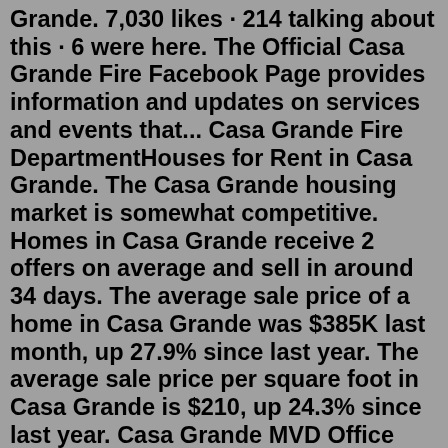Grande. 7,030 likes · 214 talking about this · 6 were here. The Official Casa Grande Fire Facebook Page provides information and updates on services and events that... Casa Grande Fire DepartmentHouses for Rent in Casa Grande. The Casa Grande housing market is somewhat competitive. Homes in Casa Grande receive 2 offers on average and sell in around 34 days. The average sale price of a home in Casa Grande was $385K last month, up 27.9% since last year. The average sale price per square foot in Casa Grande is $210, up 24.3% since last year. Casa Grande MVD Office hours, address, appointments, phone number, holidays and services. Name Casa Grande MVD Office Address 240 West Cottonwood Lane Casa Grande, Arizona, 85122 Phone 800-251-5866 HoursCasa Grande, AZ Today, Tonight & Tomorrow's Weather Forecast | AccuWeather Areal Flood Watch Current Weather 1:50 PM 100° F RealFeel® 109° RealFeel Shade™ 100° Air Quality Fair Wind NE 3 mph Wind...Casa Grande , AZ. 1325 East Florence Boulevard Suite# 8, Casa Grande, AZ